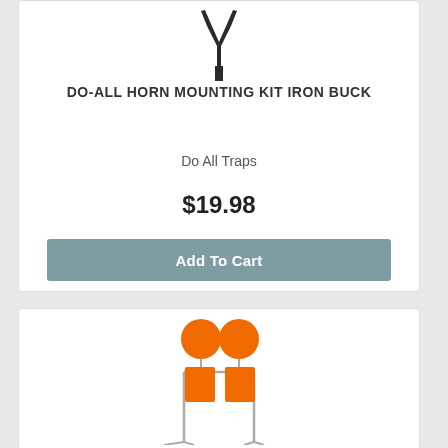[Figure (photo): Partial view of a black iron buck horn mounting kit product image at top, cropped]
DO-ALL HORN MOUNTING KIT IRON BUCK
Do All Traps
$19.98
Add To Cart
[Figure (photo): Orange double spinner shooting target with two orange circles on top and two orange rectangles below, mounted on a wire frame stand]